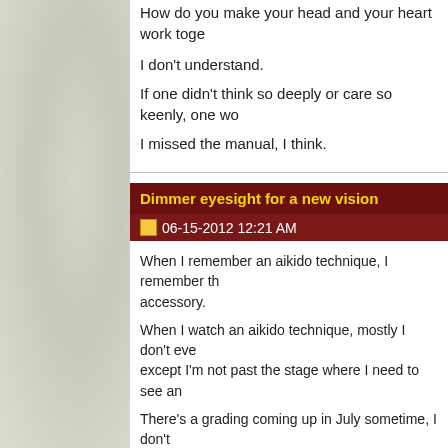How do you make your head and your heart work together?
I don't understand.
If one didn't think so deeply or care so keenly, one wo...
I missed the manual, I think.
Dimmer eyesight for a new vision
06-15-2012 12:21 AM
When I remember an aikido technique, I remember th... accessory.
When I watch an aikido technique, mostly I don't eve... except I'm not past the stage where I need to see an...
There's a grading coming up in July sometime, I don't... mesmerised by the cause-and-effect way that if I twis...
...More
Thoughts from my headspace